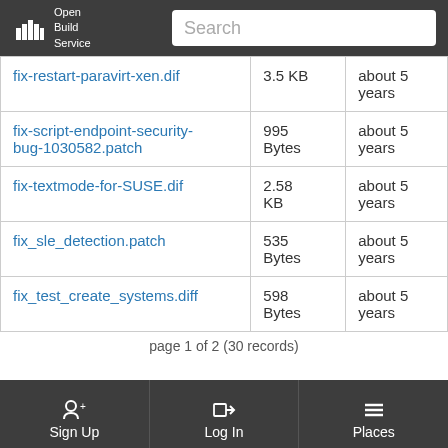Open Build Service — Search
| Filename | Size | Age |
| --- | --- | --- |
| fix-restart-paravirt-xen.dif | 3.5 KB | about 5 years |
| fix-script-endpoint-security-bug-1030582.patch | 995 Bytes | about 5 years |
| fix-textmode-for-SUSE.dif | 2.58 KB | about 5 years |
| fix_sle_detection.patch | 535 Bytes | about 5 years |
| fix_test_create_systems.diff | 598 Bytes | about 5 years |
page 1 of 2 (30 records)
Sign Up  Log In  Places